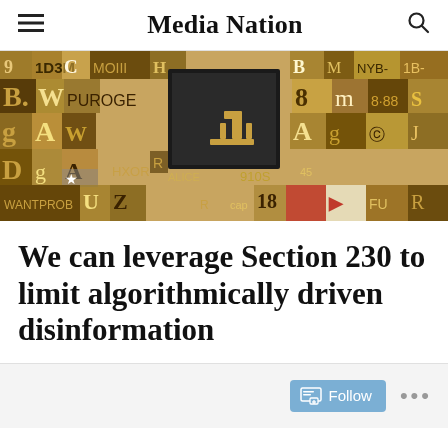Media Nation
[Figure (photo): Collage of wooden typeset letters, numbers, and characters arranged densely together, with a dark central panel showing a small figure or object on a platform.]
We can leverage Section 230 to limit algorithmically driven disinformation